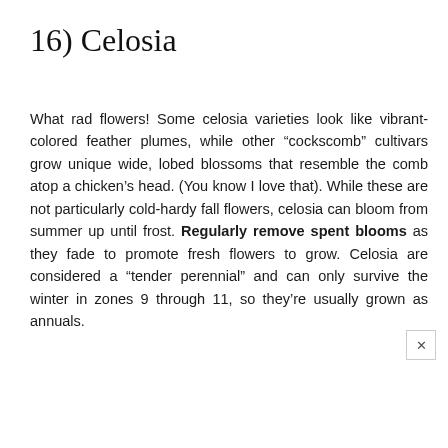16) Celosia
What rad flowers! Some celosia varieties look like vibrant-colored feather plumes, while other “cockscomb” cultivars grow unique wide, lobed blossoms that resemble the comb atop a chicken’s head. (You know I love that). While these are not particularly cold-hardy fall flowers, celosia can bloom from summer up until frost. Regularly remove spent blooms as they fade to promote fresh flowers to grow. Celosia are considered a “tender perennial” and can only survive the winter in zones 9 through 11, so they’re usually grown as annuals.